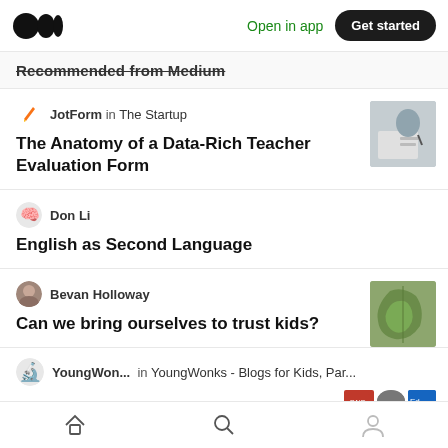Open in app  Get started
Recommended from Medium
JotForm in The Startup
The Anatomy of a Data-Rich Teacher Evaluation Form
Don Li
English as Second Language
Bevan Holloway
Can we bring ourselves to trust kids?
YoungWon...  in  YoungWonks - Blogs for Kids, Par...
Home  Search  Profile